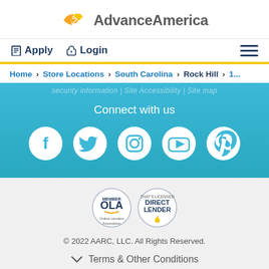Advance America
Apply | Login
Home > Store Locations > South Carolina > Rock Hill > 1...
security information | Site Accessibility | Site map
Connect with us
[Figure (illustration): Social media icons: Facebook, Twitter, Instagram, YouTube, Pinterest]
[Figure (logo): OLA and Direct Lender certification badges]
© 2022 AARC, LLC. All Rights Reserved.
Terms & Other Conditions